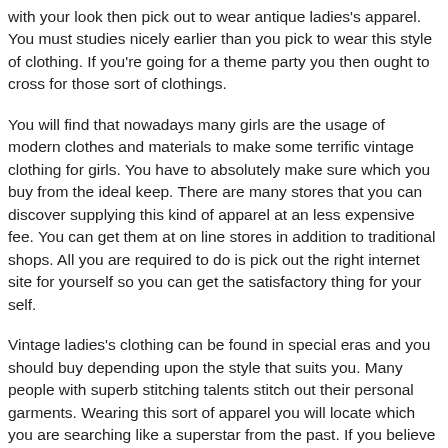with your look then pick out to wear antique ladies's apparel. You must studies nicely earlier than you pick to wear this style of clothing. If you're going for a theme party you then ought to cross for those sort of clothings.
You will find that nowadays many girls are the usage of modern clothes and materials to make some terrific vintage clothing for girls. You have to absolutely make sure which you buy from the ideal keep. There are many stores that you can discover supplying this kind of apparel at an less expensive fee. You can get them at on line stores in addition to traditional shops. All you are required to do is pick out the right internet site for yourself so you can get the satisfactory thing for your self.
Vintage ladies's clothing can be found in special eras and you should buy depending upon the style that suits you. Many people with superb stitching talents stitch out their personal garments. Wearing this sort of apparel you will locate which you are searching like a superstar from the past. If you believe you studied that this style of